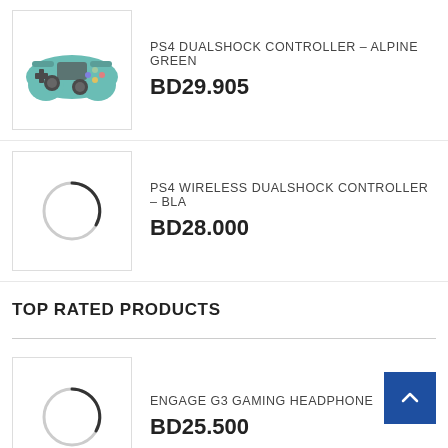[Figure (photo): PS4 DualShock controller in Alpine Green color]
PS4 DUALSHOCK CONTROLLER – ALPINE GREEN
BD29.905
[Figure (photo): Loading spinner / placeholder image circle]
PS4 WIRELESS DUALSHOCK CONTROLLER – BLA...
BD28.000
TOP RATED PRODUCTS
[Figure (photo): Loading spinner / placeholder image circle]
ENGAGE G3 GAMING HEADPHONE
BD25.500
[Figure (photo): Loading spinner / placeholder image circle (partial)]
PURPLE KISS / HIDE & SEEK (SEEK VER...
BD16.364